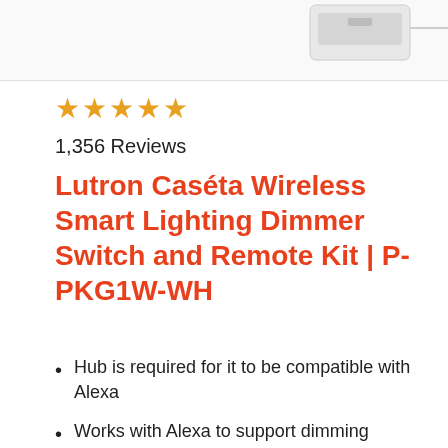[Figure (photo): Partial product image of smart lighting device/remote at top of page]
★★★★★ 1,356 Reviews
Lutron Caséta Wireless Smart Lighting Dimmer Switch and Remote Kit | P-PKG1W-WH
Hub is required for it to be compatible with Alexa
Works with Alexa to support dimming through voice control